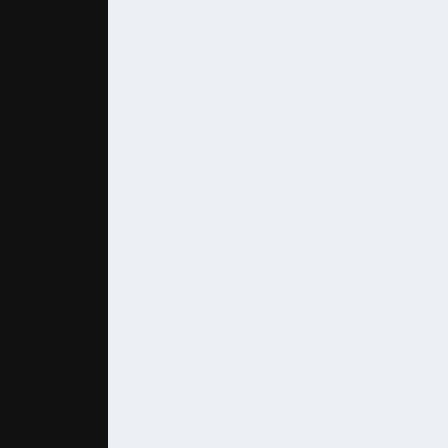warm ups will insure your transitions, and masters of all these sophisticated transitions in the system...
Commit to these warm ups, commit to becoming masters of all these techniques will...
The rubber guard is the brain of the system, the spider web the blood. And the skills of this system are now the 10pHQ Warm...
Last edited by Eddie Bravo; 10-07-201...
Follow me on Instagram @eddiebravo1...
SUBSCRIBE to my videos youtube.com...
10-05-2013 01:13 PM  #2
Eddie Bravo
[Figure (photo): Profile photo of Eddie Bravo, showing two men in close proximity, appears to be a candid photograph with muted colors]